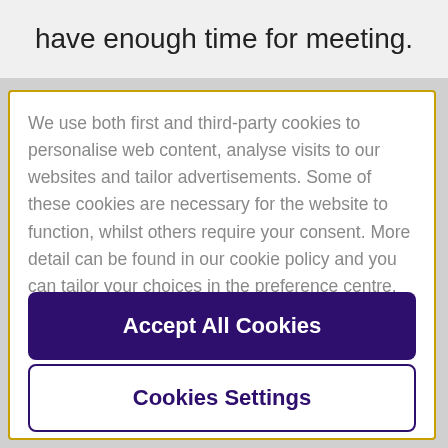have enough time for meeting.
We use both first and third-party cookies to personalise web content, analyse visits to our websites and tailor advertisements. Some of these cookies are necessary for the website to function, whilst others require your consent. More detail can be found in our cookie policy and you can tailor your choices in the preference centre.
Accept All Cookies
Cookies Settings